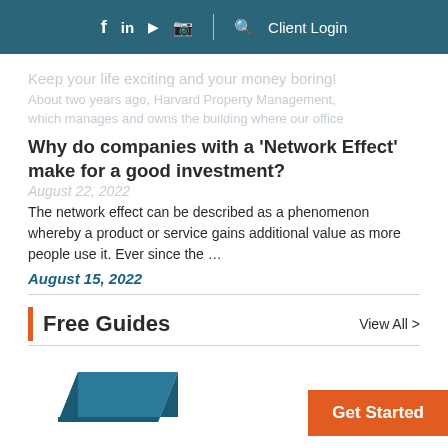f in ▶ ☎ | 🔍 Client Login
Keep your life exciting and your money boring!
About two years ago, Harvard Property Management, which manages and owns the building where our office
Why do companies with a 'Network Effect' make for a good investment?
August 22, 2022
The network effect can be described as a phenomenon whereby a product or service gains additional value as more people use it. Ever since the ...
August 15, 2022
Free Guides
View All >
Get Started